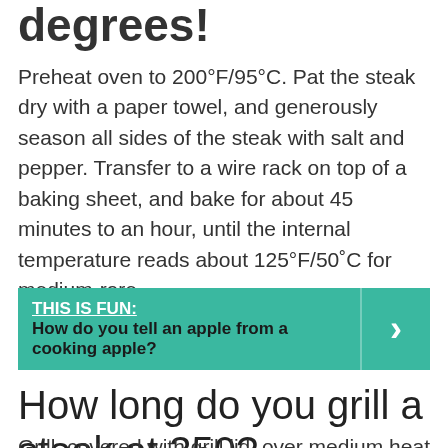degrees!
Preheat oven to 200°F/95°C. Pat the steak dry with a paper towel, and generously season all sides of the steak with salt and pepper. Transfer to a wire rack on top of a baking sheet, and bake for about 45 minutes to an hour, until the internal temperature reads about 125°F/50˚C for medium-rare.
THIS IS FUN: How do you tell an apple from a cooking apple?
How long do you grill a steak at 350?
Grill, covered with grill lid, over medium heat